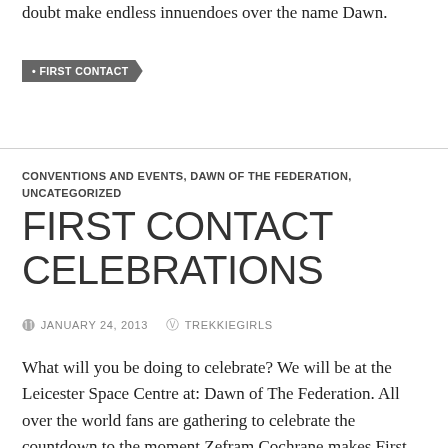doubt make endless innuendoes over the name Dawn.
• FIRST CONTACT
CONVENTIONS AND EVENTS, DAWN OF THE FEDERATION, UNCATEGORIZED
FIRST CONTACT CELEBRATIONS
JANUARY 24, 2013   TREKKIEGIRLS
What will you be doing to celebrate? We will be at the Leicester Space Centre at: Dawn of The Federation. All over the world fans are gathering to celebrate the countdown to the moment Zefram Cochrane makes First Contact, and the subsequent historic consequences for